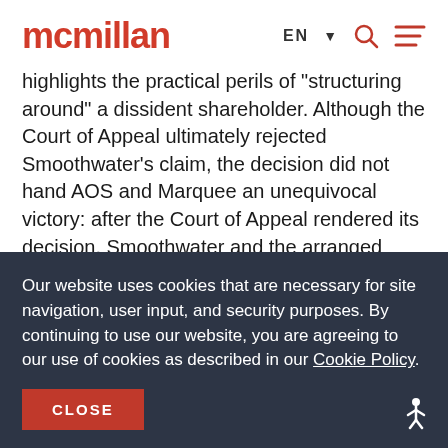mcmillan | EN ▾ 🔍 ≡
highlights the practical perils of "structuring around" a dissident shareholder. Although the Court of Appeal ultimately rejected Smoothwater's claim, the decision did not hand AOS and Marquee an unequivocal victory: after the Court of Appeal rendered its decision, Smoothwater and the arranged corporation (the "New Marquee") entered into a settlement agreement pursuant to which
Our website uses cookies that are necessary for site navigation, user input, and security purposes. By continuing to use our website, you are agreeing to our use of cookies as described in our Cookie Policy.
CLOSE